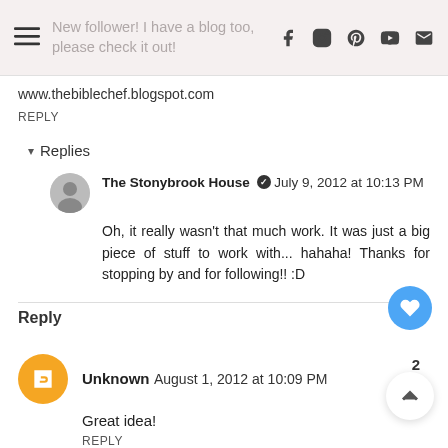New follower! I have a blog too, please check it out!
www.thebiblechef.blogspot.com
REPLY
▾ Replies
The Stonybrook House ✓ July 9, 2012 at 10:13 PM
Oh, it really wasn't that much work. It was just a big piece of stuff to work with... hahaha! Thanks for stopping by and for following!! :D
Reply
Unknown August 1, 2012 at 10:09 PM
Great idea!
REPLY